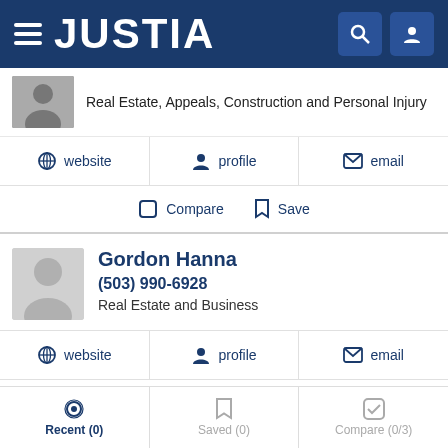JUSTIA
Real Estate, Appeals, Construction and Personal Injury
website  profile  email
Compare  Save
Gordon Hanna
(503) 990-6928
Real Estate and Business
website  profile  email
Compare  Save
John Tollefson
Recent (0)  Saved (0)  Compare (0/3)